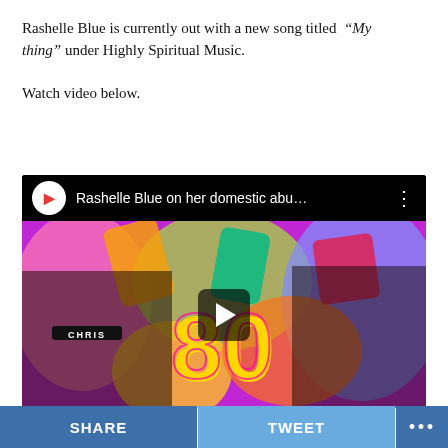Rashelle Blue is currently out with a new song titled “My thing” under Highly Spiritual Music.

Watch video below.
[Figure (screenshot): Embedded YouTube video player showing 'Rashelle Blue on her domestic abu...' with a colorful 80s-themed thumbnail featuring two people and a play button overlay]
SHARE   TWEET   •••